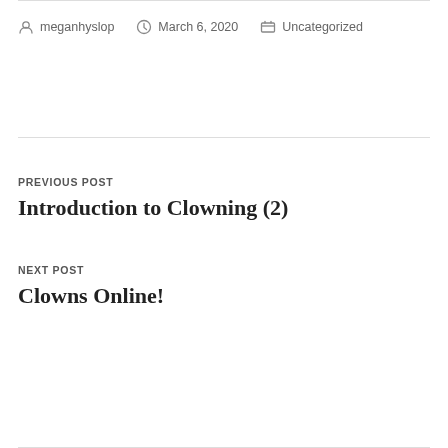meganhyslop   March 6, 2020   Uncategorized
PREVIOUS POST
Introduction to Clowning (2)
NEXT POST
Clowns Online!